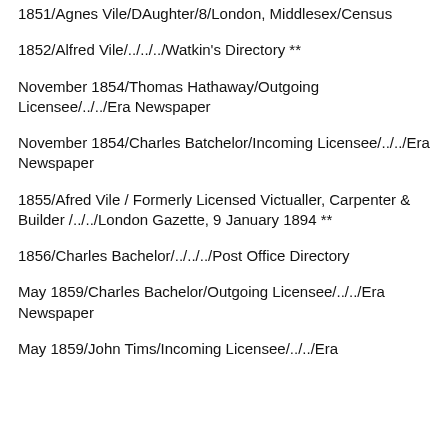1851/Agnes Vile/DAughter/8/London, Middlesex/Census
1852/Alfred Vile/../../../Watkin's Directory **
November 1854/Thomas Hathaway/Outgoing Licensee/../../Era Newspaper
November 1854/Charles Batchelor/Incoming Licensee/../../Era Newspaper
1855/Afred Vile / Formerly Licensed Victualler, Carpenter & Builder /../../London Gazette, 9 January 1894 **
1856/Charles Bachelor/../../../Post Office Directory
May 1859/Charles Bachelor/Outgoing Licensee/../../Era Newspaper
May 1859/John Tims/Incoming Licensee/../../Era